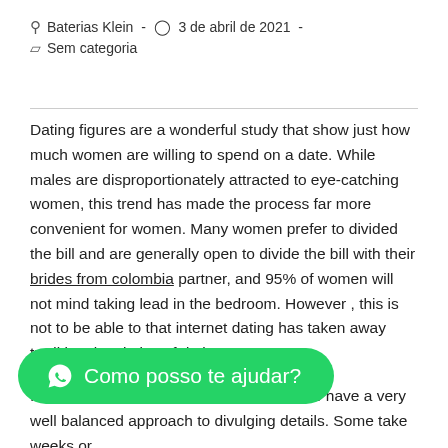Baterias Klein  -  3 de abril de 2021  -  Sem categoria
Dating figures are a wonderful study that show just how much women are willing to spend on a date. While males are disproportionately attracted to eye-catching women, this trend has made the process far more convenient for women. Many women prefer to divided the bill and are generally open to divide the bill with their brides from colombia partner, and 95% of women will not mind taking lead in the bedroom. However , this is not to be able to that internet dating has taken away traditional varieties of dating.
In respect to Kaspersky's statistics, people have a very well balanced approach to divulging details. Some take weeks or minutes or hours. An individual fifth of male users of online dating sites say they are
[Figure (other): WhatsApp chat button: green pill-shaped button with WhatsApp icon and text 'Como posso te ajudar?']